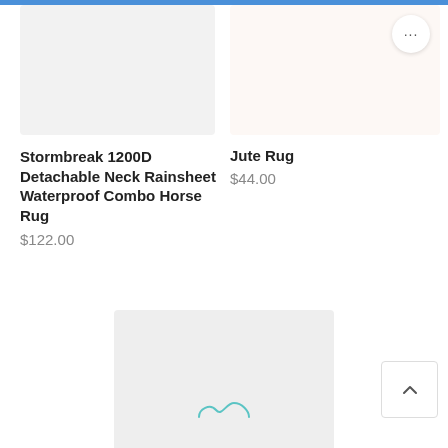[Figure (screenshot): Product image placeholder - left, light gray background]
[Figure (screenshot): Product image placeholder - right, light beige background with three-dot menu button]
Stormbreak 1200D Detachable Neck Rainsheet Waterproof Combo Horse Rug
$122.00
Jute Rug
$44.00
[Figure (logo): Product image placeholder - center bottom, light gray background with teal infinity/loading icon]
Stormbreak Rainsheet 1200...